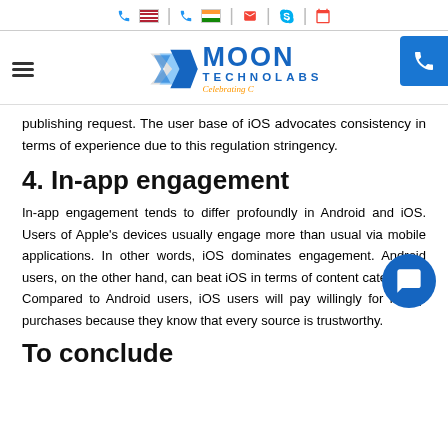Moon Technolabs — navigation bar with phone (US), phone (India), email, Skype, calendar icons
[Figure (logo): Moon Technolabs logo with rocket icon, bold MOON TECHNOLABS text, and 'Celebrating C' tagline in orange italic]
publishing request. The user base of iOS advocates consistency in terms of experience due to this regulation stringency.
4. In-app engagement
In-app engagement tends to differ profoundly in Android and iOS. Users of Apple's devices usually engage more than usual via mobile applications. In other words, iOS dominates engagement. Android users, on the other hand, can beat iOS in terms of content categories. Compared to Android users, iOS users will pay willingly for in-app purchases because they know that every source is trustworthy.
To conclude